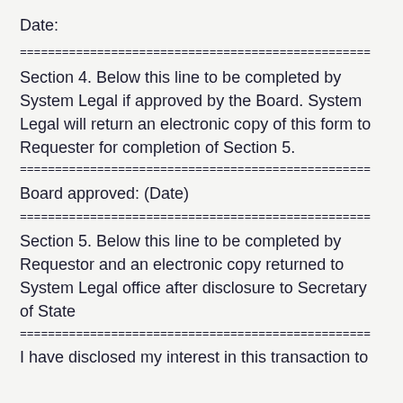Date:
=======================================================
Section 4. Below this line to be completed by System Legal if approved by the Board. System Legal will return an electronic copy of this form to Requester for completion of Section 5.
=======================================================
Board approved: (Date)
=======================================================
Section 5. Below this line to be completed by Requestor and an electronic copy returned to System Legal office after disclosure to Secretary of State
=======================================================
I have disclosed my interest in this transaction to